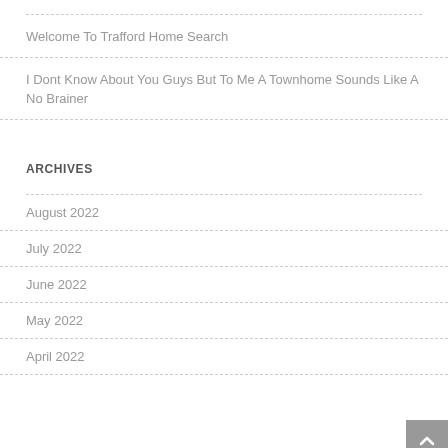Welcome To Trafford Home Search
I Dont Know About You Guys But To Me A Townhome Sounds Like A No Brainer
ARCHIVES
August 2022
July 2022
June 2022
May 2022
April 2022